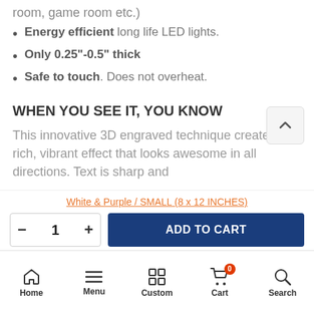room, game room etc.)
Energy efficient long life LED lights.
Only 0.25"-0.5" thick
Safe to touch. Does not overheat.
WHEN YOU SEE IT, YOU KNOW
This innovative 3D engraved technique creates the rich, vibrant effect that looks awesome in all directions. Text is sharp and
White & Purple / SMALL (8 x 12 INCHES)
- 1 + ADD TO CART
Home  Menu  Custom  Cart  Search